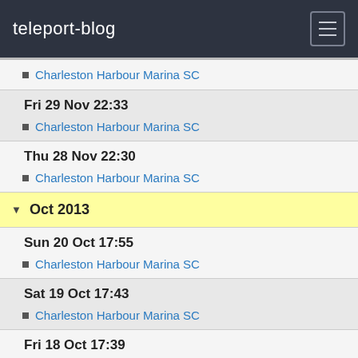teleport-blog
Charleston Harbour Marina SC
Fri 29 Nov 22:33
Charleston Harbour Marina SC
Thu 28 Nov 22:30
Charleston Harbour Marina SC
Oct 2013
Sun 20 Oct 17:55
Charleston Harbour Marina SC
Sat 19 Oct 17:43
Charleston Harbour Marina SC
Fri 18 Oct 17:39
Charleston Harbour Marina SC
Sep 2013
Mon 30 Sep 09:00